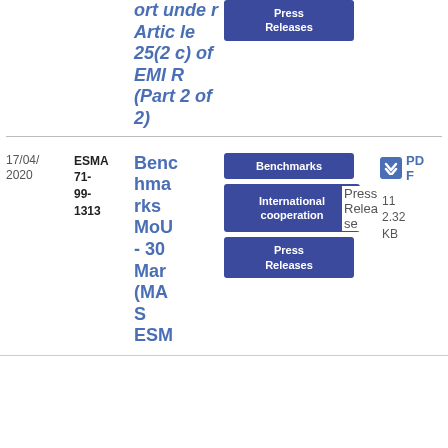Report under Article 25(2c) of EMIR (Part 2 of 2)
Press Releases
17/04/2020
ESMA 71-99-1313
Benchmarks MoU - 30 Mar (MAS ESM...
Benchmarks
Press Releases
International cooperation
Press Releases
PDF
11
2.32 KB